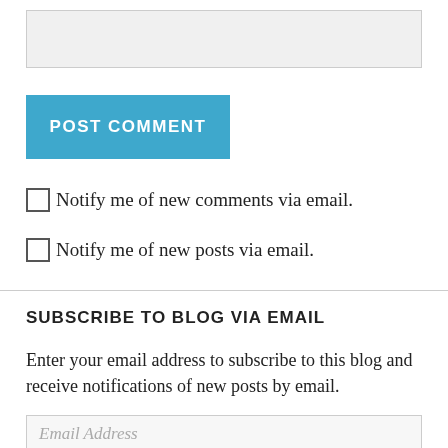[Figure (screenshot): A text input/textarea box with light gray background and border]
[Figure (screenshot): A blue 'POST COMMENT' button]
Notify me of new comments via email.
Notify me of new posts via email.
SUBSCRIBE TO BLOG VIA EMAIL
Enter your email address to subscribe to this blog and receive notifications of new posts by email.
[Figure (screenshot): An email address input field with placeholder text 'Email Address']